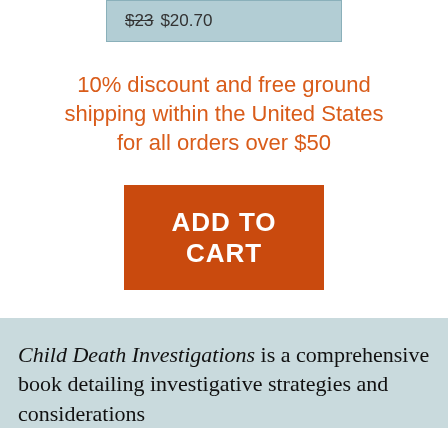$23 $20.70
10% discount and free ground shipping within the United States for all orders over $50
ADD TO CART
Child Death Investigations is a comprehensive book detailing investigative strategies and considerations